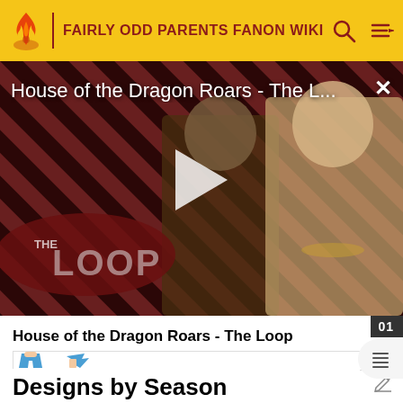FAIRLY ODD PARENTS FANON WIKI
[Figure (screenshot): Video player showing 'House of the Dragon Roars - The L...' with play button, The Loop branding overlay, characters from House of the Dragon, diagonal stripe background pattern, and close (X) button.]
House of the Dragon Roars - The Loop
[Figure (illustration): Cropped thumbnail image showing animated character in blue pants, partial view.]
Designs by Season